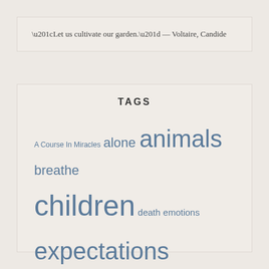“Let us cultivate our garden.” — Voltaire, Candide
TAGS
A Course In Miracles alone animals breathe children death emotions expectations happy home intentions joy kids life Love pain peace plan real safe surrender trust truth uncomfortable Universe